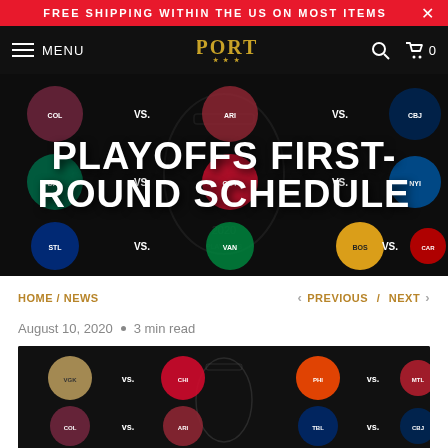FREE SHIPPING WITHIN THE US ON MOST ITEMS
[Figure (screenshot): Website navigation bar with hamburger menu, SPORTS logo, search icon, and cart showing 0 items]
[Figure (photo): NHL 2020 Playoffs First-Round Schedule banner with team logos on dark background]
PLAYOFFS FIRST-ROUND SCHEDULE
HOME / NEWS
PREVIOUS / NEXT
August 10, 2020  •  3 min read
[Figure (photo): NHL 2020 Stanley Cup Playoffs first-round matchups infographic with team logos: Golden Knights vs. Blackhawks, Flyers vs. Canadiens, Avalanche vs. Coyotes, Lightning vs. Blue Jackets]